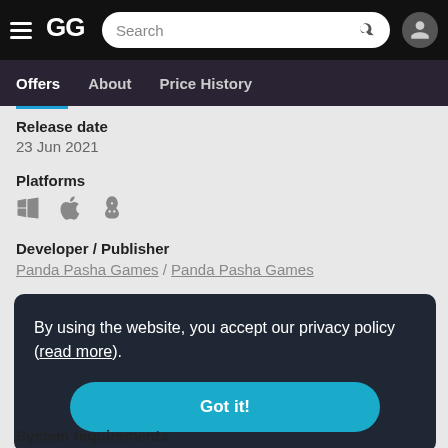GG navigation header with search bar and user icon
Offers | About | Price History
Release date
23 Jun 2021
Platforms
[Figure (illustration): Platform icons: Windows, Apple/Mac, Linux]
Developer / Publisher
Panda Pasha Games / Panda Pasha Games
By using the website, you accept our privacy policy (read more).
Got it!
System requirements